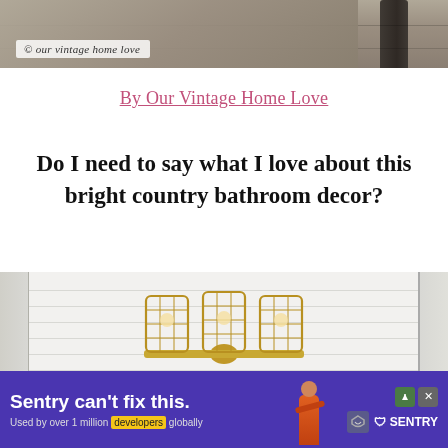[Figure (photo): Top portion of a photo showing a porch or outdoor area with dark stone tile flooring and a dark wooden post on the right. A watermark reads '© our vintage home love' in script font on a white label.]
By Our Vintage Home Love
Do I need to say what I love about this bright country bathroom decor?
[Figure (photo): Photo of a bright country bathroom showing a triple-cage brass/gold vintage-style vanity light fixture mounted on white shiplap walls. The fixture has three cage pendants with visible Edison bulbs on a horizontal brass bar.]
[Figure (advertisement): Advertisement banner for Sentry with purple background showing 'Sentry can't fix this.' headline, 'Used by over 1 million developers globally' subtext with 'developers' highlighted in yellow, illustrated character in orange, and Sentry logo on the right.]